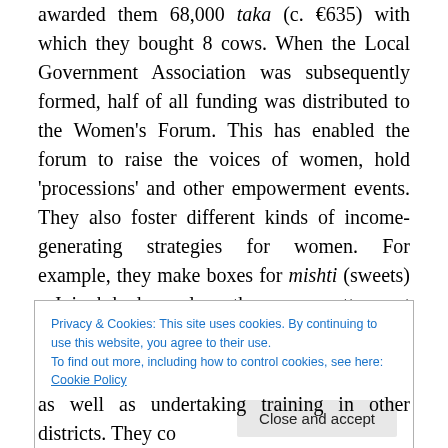awarded them 68,000 taka (c. €635) with which they bought 8 cows. When the Local Government Association was subsequently formed, half of all funding was distributed to the Women's Forum. This has enabled the forum to raise the voices of women, hold 'processions' and other empowerment events. They also foster different kinds of income-generating strategies for women. For example, they make boxes for mishti (sweets) – Joinob had samples – they were pretty, a set of differently sized cardboard-boxes with pink covers and of of various design. We saw samples too of quilts that had been made.
Privacy & Cookies: This site uses cookies. By continuing to use this website, you agree to their use. To find out more, including how to control cookies, see here: Cookie Policy
as well as undertaking training in other districts. They co